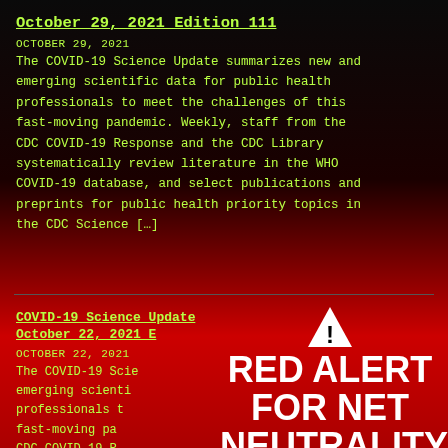October 29, 2021 Edition 111
OCTOBER 29, 2021
The COVID-19 Science Update summarizes new and emerging scientific data for public health professionals to meet the challenges of this fast-moving pandemic. Weekly, staff from the CDC COVID-19 Response and the CDC Library systematically review literature in the WHO COVID-19 database, and select publications and preprints for public health priority topics in the CDC Science […]
COVID-19 Science Update
October 22, 2021 E
OCTOBER 22, 2021
The COVID-19 Scie emerging scienti professionals t fast-moving pa CDC COVID-19 R systematicall
[Figure (infographic): Red Alert for Net Neutrality overlay with warning triangle icon, bold white text reading RED ALERT FOR NET NEUTRALITY, a black TAKE ACTION button, and a CLOSE link in green text.]